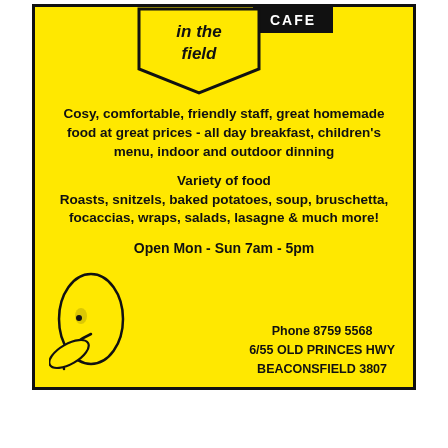[Figure (logo): Yellow hexagon/shield shaped logo with text 'in the field' and 'CAFE' badge in black]
Cosy, comfortable, friendly staff, great homemade food at great prices - all day breakfast, children's menu, indoor and outdoor dinning
Variety of food
Roasts, snitzels, baked potatoes, soup, bruschetta, focaccias, wraps, salads, lasagne & much more!
Open Mon - Sun 7am - 5pm
Phone 8759 5568
6/55 OLD PRINCES HWY
BEACONSFIELD 3807